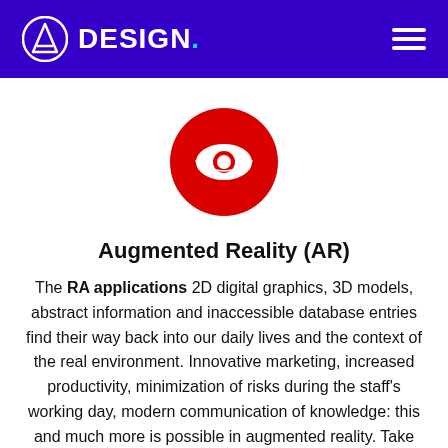DESIGN.
[Figure (illustration): Red circle with a white eye icon in the center]
Augmented Reality (AR)
The RA applications 2D digital graphics, 3D models, abstract information and inaccessible database entries find their way back into our daily lives and the context of the real environment. Innovative marketing, increased productivity, minimization of risks during the staff's working day, modern communication of knowledge: this and much more is possible in augmented reality. Take your company to the next